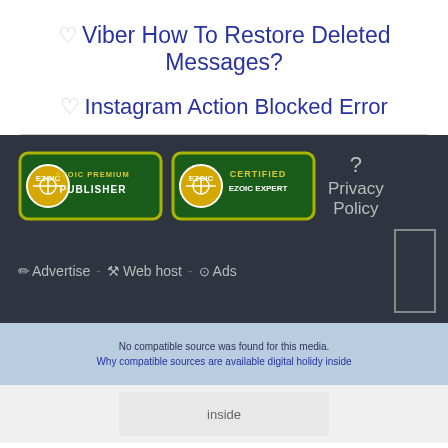♡ Viber How To Restore Deleted Messages?
♡ Instagram Action Blocked Error
[Figure (logo): Ezoic Premium Publisher badge and Certified Ezoic Expert badge in the footer]
? Privacy Policy
✏ Advertise · 🔧 Web host · ⊙ Ads
No compatible source was found for this media. Why compatible sources are available digital holidy inside
inside